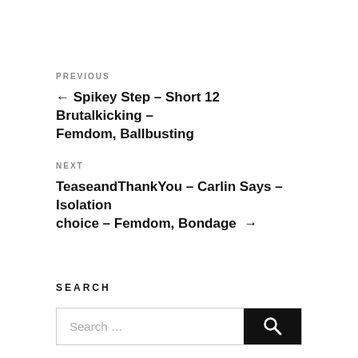PREVIOUS
← Spikey Step – Short 12 Brutalkicking – Femdom, Ballbusting
NEXT
TeaseandThankYou – Carlin Says – Isolation choice – Femdom, Bondage →
SEARCH